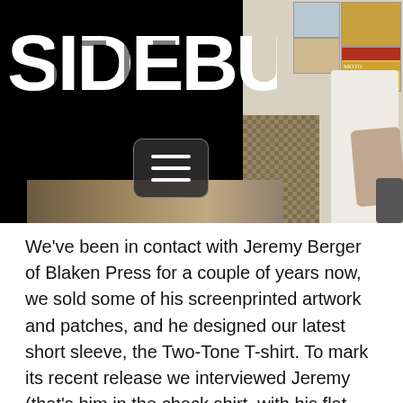[Figure (photo): Header image with Sideburn logo in white grunge text on black background on the left, and a photo on the right showing two people in a room with vintage motorcycle posters, one in a check shirt and one in a white t-shirt with tattoos. A hamburger menu button is visible in the center.]
We've been in contact with Jeremy Berger of Blaken Press for a couple of years now, we sold some of his screenprinted artwork and patches, and he designed our latest short sleeve, the Two-Tone T-shirt. To mark its recent release we interviewed Jeremy (that's him in the check shirt, with his flat track mad dad) about art and motorcycles, with a smattering